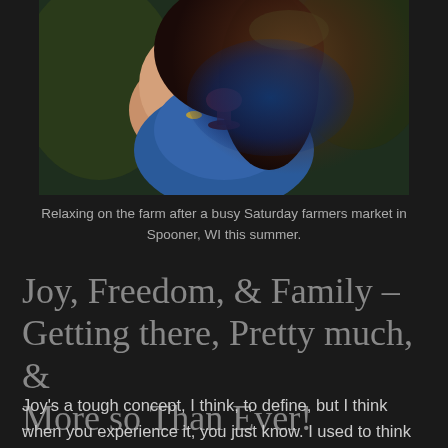[Figure (photo): Woman in blue top holding a wine glass, relaxing outdoors on a farm.]
Relaxing on the farm after a busy Saturday farmers market in Spooner, WI this summer.
Joy, Freedom, & Family - Getting there, Pretty much, & More so Than Ever!
Joy's a tough concept, I think, to define, but I think when you experience it, you just know. I used to think Joy was knowing everything will be all right. And perhaps that's